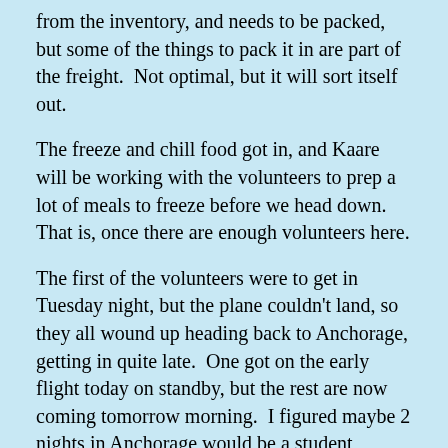from the inventory, and needs to be packed, but some of the things to pack it in are part of the freight.  Not optimal, but it will sort itself out.
The freeze and chill food got in, and Kaare will be working with the volunteers to prep a lot of meals to freeze before we head down.  That is, once there are enough volunteers here.
The first of the volunteers were to get in Tuesday night, but the plane couldn't land, so they all wound up heading back to Anchorage, getting in quite late.  One got on the early flight today on standby, but the rest are now coming tomorrow morning.  I figured maybe 2 nights in Anchorage would be a student budget-buster (having slept under some stairs once when stranded in England for a week on the way home from the field–Laker had raised ticket prices over the summer and I didn't have a credit